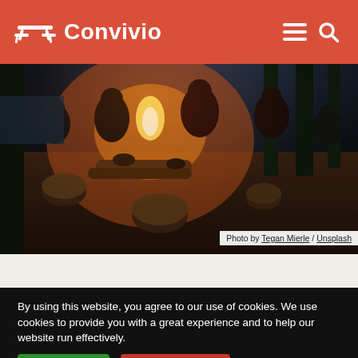Convivio
[Figure (photo): Night campfire scene with group of people sitting around a fire outdoors, surrounded by logs and stumps, with trees and lake in background. Warm amber tones.]
Photo by Tegan Mierle / Unsplash
By using this website, you agree to our use of cookies. We use cookies to provide you with a great experience and to help our website run effectively.
I Understand   Disable Cookies   Cookie policy